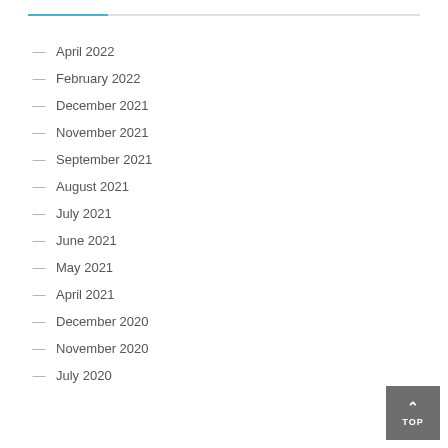April 2022
February 2022
December 2021
November 2021
September 2021
August 2021
July 2021
June 2021
May 2021
April 2021
December 2020
November 2020
July 2020